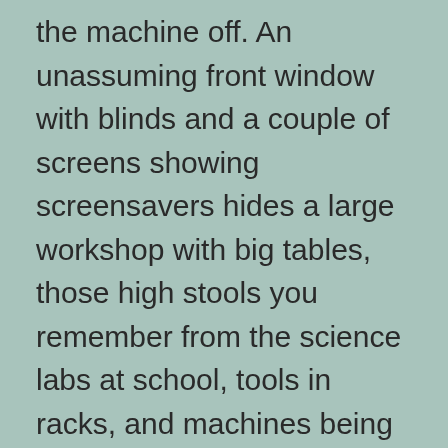the machine off. An unassuming front window with blinds and a couple of screens showing screensavers hides a large workshop with big tables, those high stools you remember from the science labs at school, tools in racks, and machines being worked on, as well as a Yorkshire Terrier and a big parrot. I brought the machine in at the weekend (desktops are heavy!) and explained the various symptoms. Yesterday I got a call saying it wasn't good news – my motherboard was dead. My drives were still OK, and all the other various parts are probably OK too. So, question: Do I want to build a new desktop and start again?